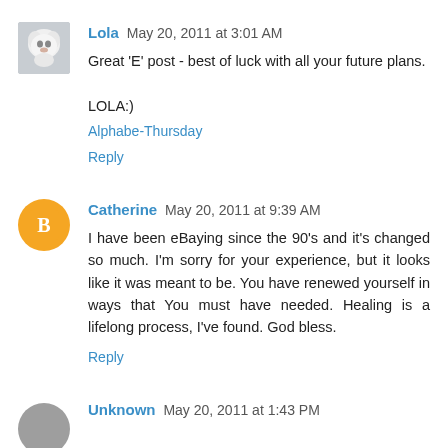[Figure (photo): Small avatar photo of a white fluffy dog (Bichon Frise type)]
Lola May 20, 2011 at 3:01 AM
Great 'E' post - best of luck with all your future plans.

LOLA:)
Alphabe-Thursday
Reply
[Figure (logo): Orange circle avatar with white Blogger 'B' logo]
Catherine May 20, 2011 at 9:39 AM
I have been eBaying since the 90's and it's changed so much. I'm sorry for your experience, but it looks like it was meant to be. You have renewed yourself in ways that You must have needed. Healing is a lifelong process, I've found. God bless.
Reply
[Figure (photo): Gray circle avatar (partially visible at bottom)]
Unknown May 20, 2011 at 1:43 PM